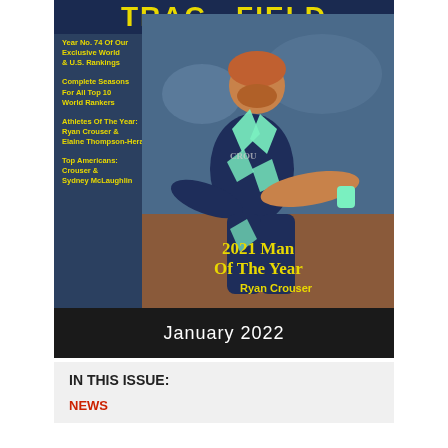[Figure (photo): Magazine cover of Track & Field News showing athlete Ryan Crouser in a navy and mint green Nike athletic outfit, appearing to throw shot put. The cover has yellow text on the left listing features and large yellow text at the bottom reading '2021 Man Of The Year Ryan Crouser'.]
TRACK & FIELD NEWS
Year No. 74 Of Our Exclusive World & U.S. Rankings
Complete Seasons For All Top 10 World Rankers
Athletes Of The Year: Ryan Crouser & Elaine Thompson-Herah
Top Americans: Crouser & Sydney McLaughlin
2021 Man Of The Year
Ryan Crouser
January 2022
IN THIS ISSUE:
NEWS